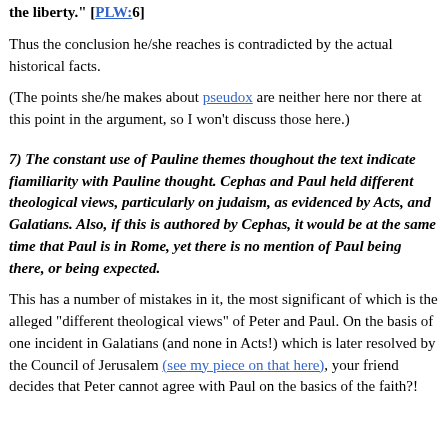the liberty." [PLW:6]
Thus the conclusion he/she reaches is contradicted by the actual historical facts.
(The points she/he makes about pseudox are neither here nor there at this point in the argument, so I won't discuss those here.)
7) The constant use of Pauline themes thoughout the text indicate fiamiliarity with Pauline thought. Cephas and Paul held different theological views, particularly on judaism, as evidenced by Acts, and Galatians. Also, if this is authored by Cephas, it would be at the same time that Paul is in Rome, yet there is no mention of Paul being there, or being expected.
This has a number of mistakes in it, the most significant of which is the alleged "different theological views" of Peter and Paul. On the basis of one incident in Galatians (and none in Acts!) which is later resolved by the Council of Jerusalem (see my piece on that here), your friend decides that Peter cannot agree with Paul on the basics of the faith?!